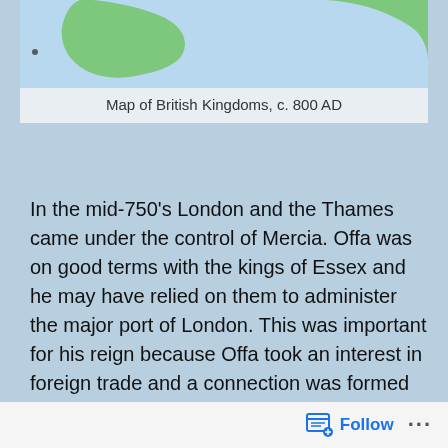[Figure (map): Partial map of British Isles showing green land masses on a light blue background, cropped at top]
Map of British Kingdoms, c. 800 AD
In the mid-750's London and the Thames came under the control of Mercia. Offa was on good terms with the kings of Essex and he may have relied on them to administer the major port of London. This was important for his reign because Offa took an interest in foreign trade and a connection was formed with the overseas trade route out of London along the Thames and also with Canterbury. This made it easier for him to establish relations with the Frankish court of King Charlemagne.
Offa was now forced to fight against King Cynewulf